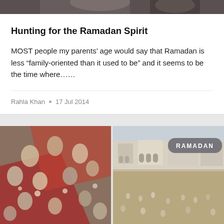[Figure (photo): Partial top strip of a photograph showing people outdoors]
Hunting for the Ramadan Spirit
MOST people my parents’ age would say that Ramadan is less “family-oriented than it used to be” and it seems to be the time where……
Rahla Khan • 17 Jul 2014
[Figure (photo): Large crowd gathered for Ramadan meal, aerial view]
[Figure (photo): Outdoor scene with mosque or building in background, labeled RAMADAN]